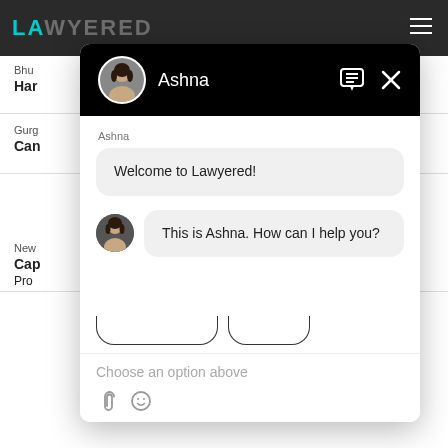[Figure (screenshot): Lawyered website background with dark top navigation bar showing the Lawyered logo in teal/grey, hamburger menu icon on right, and white content area with lawyer listing rows showing cities and names partially visible]
[Figure (screenshot): Chat widget overlay with black header showing circular avatar photo of Ashna, name 'Ashna' in white, chat/message icon and X close button. Chat body shows: sender label 'Ashna', grey bubble 'Welcome to Lawyered!', second grey bubble with small avatar 'This is Ashna. How can I help you?', partially visible quick reply button outlines, text input area with placeholder 'Choose an option above' and attachment/emoji icons at bottom.]